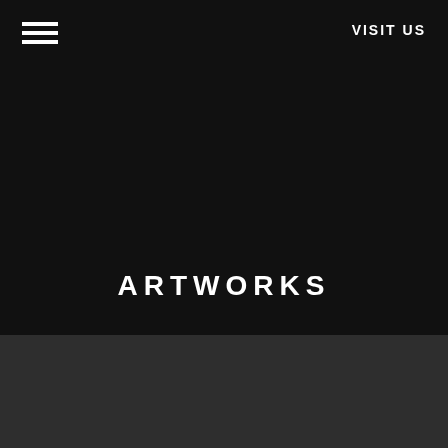VISIT US
[Figure (other): Hamburger menu icon — three white horizontal bars]
ARTWORKS
[Figure (photo): Dark grey background section at bottom of page]